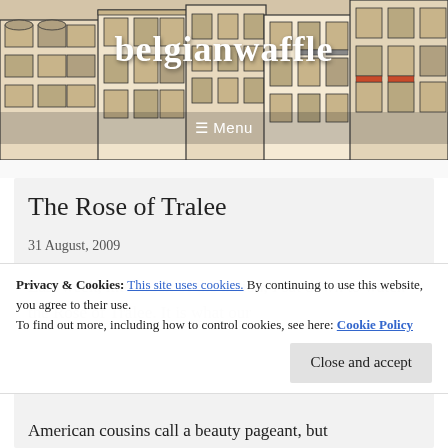[Figure (illustration): Sketch illustration of European-style buildings with tan/beige facade, black line-art style, serving as blog header background]
belgianwaffle
☰ Menu
The Rose of Tralee
31 August, 2009
Privacy & Cookies: This site uses cookies. By continuing to use this website, you agree to their use.
To find out more, including how to control cookies, see here: Cookie Policy
Last week, like much of the nation, I sat down to watch the Rose of Tralee. It is what our
American cousins call a beauty pageant, but